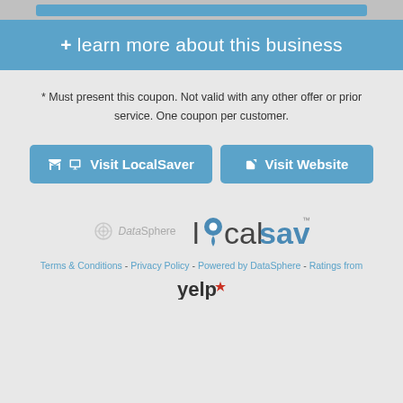[Figure (screenshot): Top partial blue button/bar element]
+ learn more about this business
* Must present this coupon. Not valid with any other offer or prior service. One coupon per customer.
[Figure (illustration): Two buttons: 'Visit LocalSaver' and 'Visit Website']
[Figure (logo): DataSphere logo and LocalSaver logo side by side]
Terms & Conditions - Privacy Policy - Powered by DataSphere - Ratings from Yelp